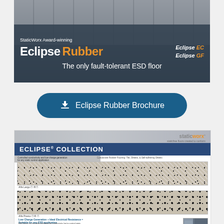[Figure (photo): StaticWorx Eclipse Rubber ESD flooring advertisement banner showing tiled floor texture with overlay text: 'StaticWorx Award-winning Eclipse Rubber' with 'Eclipse EC / Eclipse GF' variants, tagline 'The only fault-tolerant ESD floor']
[Figure (other): Download button with dark blue rounded rectangle and download icon, labeled 'Eclipse Rubber Brochure']
[Figure (screenshot): Preview thumbnail of Eclipse Collection brochure from StaticWorx showing ECLIPSE COLLECTION header with two rubber flooring swatch images (Alfa Largo and Alfa Presto patterns), and text 'Low Charge Generation + Ideal Electrical Resistance = Suitable for any ESD application']